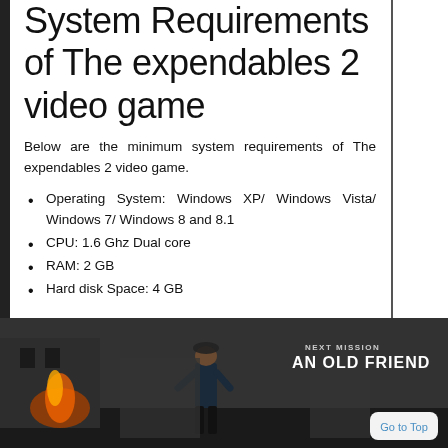System Requirements of The expendables 2 video game
Below are the minimum system requirements of The expendables 2 video game.
Operating System: Windows XP/ Windows Vista/ Windows 7/ Windows 8 and 8.1
CPU:   1.6 Ghz Dual core
RAM: 2 GB
Hard disk Space: 4 GB
[Figure (screenshot): Screenshot from The Expendables 2 video game showing a character in a dark environment. Text overlay reads 'NEXT MISSION AN OLD FRIEND'. A 'Go to Top' button is visible in the bottom right corner.]